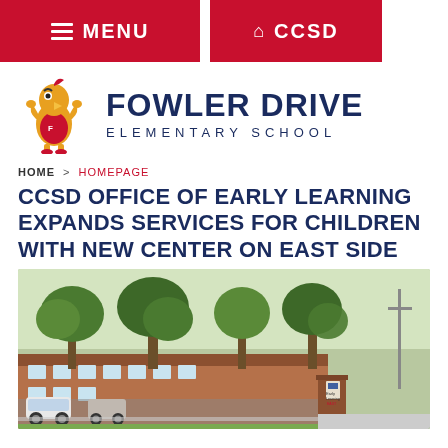MENU   CCSD
[Figure (logo): Fowler Drive Elementary School logo with mascot character (cartoon bird/hawk wearing a jersey) and school name text]
HOME > HOMEPAGE
CCSD OFFICE OF EARLY LEARNING EXPANDS SERVICES FOR CHILDREN WITH NEW CENTER ON EAST SIDE
[Figure (photo): Exterior photo of an elementary school building with trees and a brick sign reading 'Early Learning Center EAST', with parked cars in the foreground]